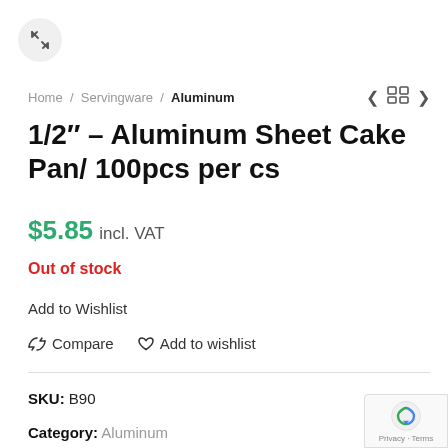[Figure (other): Expand/fullscreen button icon — circle with diagonal expand arrows]
Home / Servingware / Aluminum
1/2" – Aluminum Sheet Cake Pan/ 100pcs per cs
$5.85 incl. VAT
Out of stock
Add to Wishlist
⇄ Compare   ♡ Add to wishlist
SKU: B90
Category: Aluminum